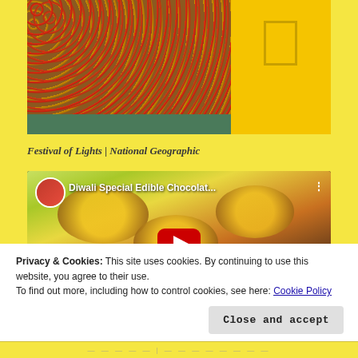[Figure (photo): A market cart full of red and yellow-green tomatoes with a National Geographic yellow border on the right side]
Festival of Lights | National Geographic
[Figure (screenshot): YouTube video thumbnail for 'Diwali Special Edible Chocolat...' showing chocolate diya-shaped sweets with yellow filling and pomegranate seeds, with a red play button in the center]
Privacy & Cookies: This site uses cookies. By continuing to use this website, you agree to their use.
To find out more, including how to control cookies, see here: Cookie Policy
Close and accept